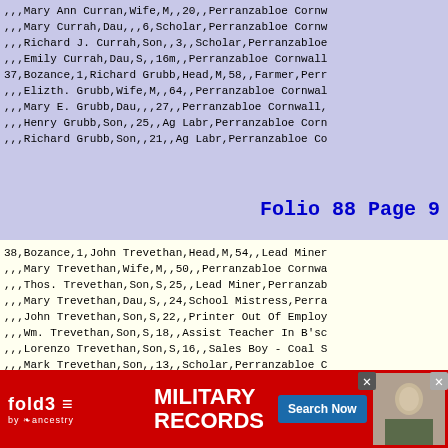| ,,, Mary Ann Curran,Wife,M,,20,,Perranzabloe Cornw |
| ,,, Mary Currah,Dau,,,6,Scholar,Perranzabloe Cornw |
| ,,, Richard J. Currah,Son,,3,,Scholar,Perranzabloe |
| ,,, Emily Currah,Dau,S,,16m,,Perranzabloe Cornwall |
| 37,Bozance,1,Richard Grubb,Head,M,58,,Farmer,Perr |
| ,,, Elizth. Grubb,Wife,M,,64,,Perranzabloe Cornwall |
| ,,, Mary E. Grubb,Dau,,,27,,Perranzabloe Cornwall, |
| ,,, Henry Grubb,Son,,25,,Ag Labr,Perranzabloe Corn |
| ,,, Richard Grubb,Son,,21,,Ag Labr,Perranzabloe Co |
Folio 88 Page 9
| 38,Bozance,1,John Trevethan,Head,M,54,,Lead Miner |
| ,,, Mary Trevethan,Wife,M,,50,,Perranzabloe Cornwa |
| ,,, Thos. Trevethan,Son,S,25,,Lead Miner,Perranzab |
| ,,, Mary Trevethan,Dau,S,,24,School Mistress,Perra |
| ,,, John Trevethan,Son,S,22,,Printer Out Of Employ |
| ,,, Wm. Trevethan,Son,S,18,,Assist Teacher In B'sc |
| ,,, Lorenzo Trevethan,Son,S,16,,Sales Boy - Coal S |
| ,,, Mark Trevethan,Son,,13,,Scholar,Perranzabloe C |
| ,,, Elizth. Trevethan,Dau,,,11,Scholar,Perranzablo |
| 39,Bozance,1,Sophia Prout,Head,M,,30,,St Agnes Co |
| 40,Cocks Mill,1,Wm.B.C. Hoskin,Head,W,28,,Miller |
| ,,, An. Cousins,Mother,,,,58,,Cobert Cornwall,, |
| ,,, Jo...,...,,...,,,...,,Perranzable |
| ,,, An...,...,,...,,,...,,Perranzabloe C |
| 41,Bo... |